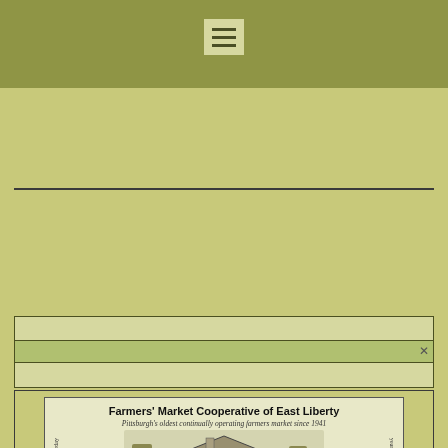[Figure (illustration): Hamburger/menu icon button with three horizontal lines, on olive-green header band]
[Figure (illustration): Farmers' Market Cooperative of East Liberty poster showing a building illustration with text. Title: Farmers' Market Cooperative of East Liberty. Subtitle: Pittsburgh's oldest continually operating farmers market since 1941. Side text: Open every Saturday / year round]